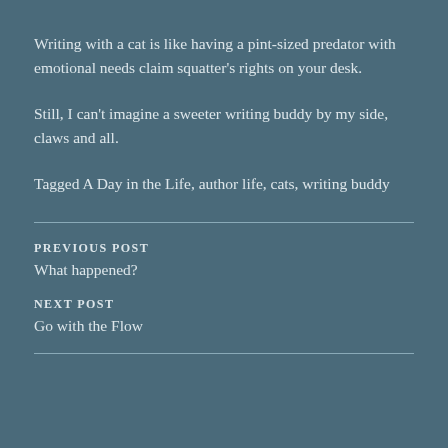Writing with a cat is like having a pint-sized predator with emotional needs claim squatter's rights on your desk.
Still, I can't imagine a sweeter writing buddy by my side, claws and all.
Tagged A Day in the Life, author life, cats, writing buddy
PREVIOUS POST
What happened?
NEXT POST
Go with the Flow